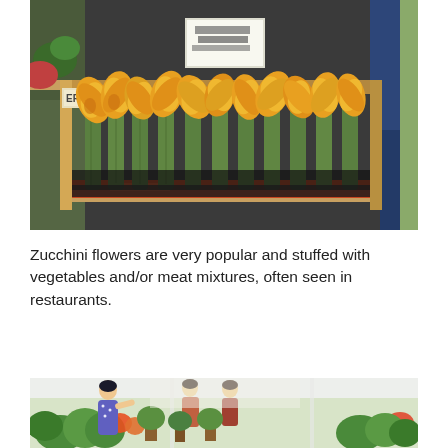[Figure (photo): A wooden crate filled with fresh zucchini flowers (courgette blossoms) with yellow-orange petals and green stems, displayed at a market stall. A price sign is visible in the background.]
Zucchini flowers are very popular and stuffed with vegetables and/or meat mixtures, often seen in restaurants.
[Figure (photo): People browsing a market stall with plants and flowers, partially visible at the bottom of the page.]